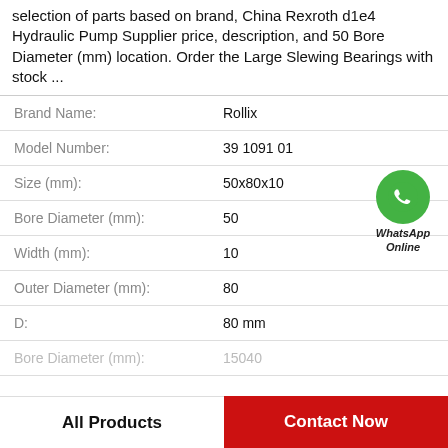selection of parts based on brand, China Rexroth d1e4 Hydraulic Pump Supplier price, description, and 50 Bore Diameter (mm) location. Order the Large Slewing Bearings with stock ...
| Property | Value |
| --- | --- |
| Brand Name: | Rollix |
| Model Number: | 39 1091 01 |
| Size (mm): | 50x80x10 |
| Bore Diameter (mm): | 50 |
| Width (mm): | 10 |
| Outer Diameter (mm): | 80 |
| D: | 80 mm |
| Bore Diameter (mm): | 15040 |
[Figure (logo): WhatsApp Online green circle badge with phone icon and text 'WhatsApp Online']
All Products
Contact Now